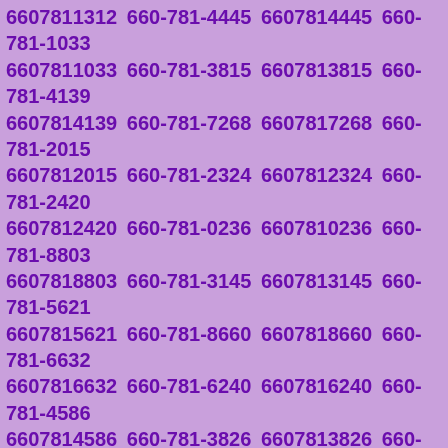6607811312 660-781-4445 6607814445 660-781-1033 6607811033 660-781-3815 6607813815 660-781-4139 6607814139 660-781-7268 6607817268 660-781-2015 6607812015 660-781-2324 6607812324 660-781-2420 6607812420 660-781-0236 6607810236 660-781-8803 6607818803 660-781-3145 6607813145 660-781-5621 6607815621 660-781-8660 6607818660 660-781-6632 6607816632 660-781-6240 6607816240 660-781-4586 6607814586 660-781-3826 6607813826 660-781-3550 6607813550 660-781-1888 6607811888 660-781-7116 6607817116 660-781-5454 6607815454 660-781-6950 6607816950 660-781-6303 6607816303 660-781-0585 6607810585 660-781-5791 6607815791 660-781-2766 6607812766 660-781-8980 6607818980 660-781-1415 6607811415 660-781-9808 6607819808 660-781-1919 6607811919 660-781-5193 6607815193 660-781-9962 6607819962 660-781-1559 6607811559 660-781-7062 6607817062 660-781-0071 6607810071 660-781-2543 6607812543 660-781-9735 6607819735 660-781-6076 6607816076 660-781-3709 6607813709 660-781-2772 6607812772 660-781-9993 6607819993 660-781-...